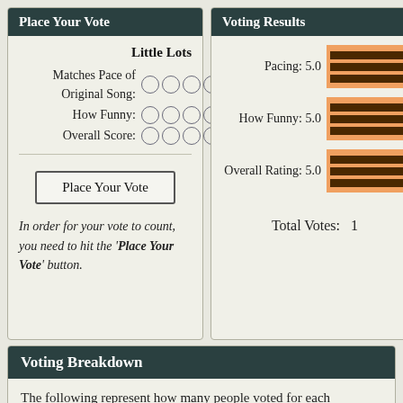Place Your Vote
Voting Results
Little Lots
Matches Pace of Original Song:
How Funny:
Overall Score:
Place Your Vote
In order for your vote to count, you need to hit the 'Place Your Vote' button.
[Figure (bar-chart): Voting Results]
Total Votes:  1
Voting Breakdown
The following represent how many people voted for each category.